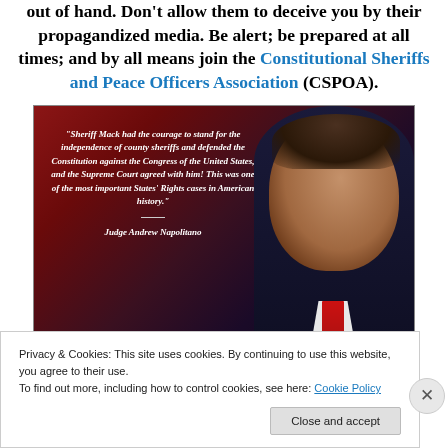out of hand. Don't allow them to deceive you by their propagandized media. Be alert; be prepared at all times; and by all means join the Constitutional Sheriffs and Peace Officers Association (CSPOA).
[Figure (photo): Quote image featuring Judge Andrew Napolitano with text: 'Sheriff Mack had the courage to stand for the independence of county sheriffs and defended the Constitution against the Congress of the United States, and the Supreme Court agreed with him! This was one of the most important States' Rights cases in American history.' – Judge Andrew Napolitano. Background shows a man in a dark pinstripe suit with red tie.]
Privacy & Cookies: This site uses cookies. By continuing to use this website, you agree to their use.
To find out more, including how to control cookies, see here: Cookie Policy
Close and accept